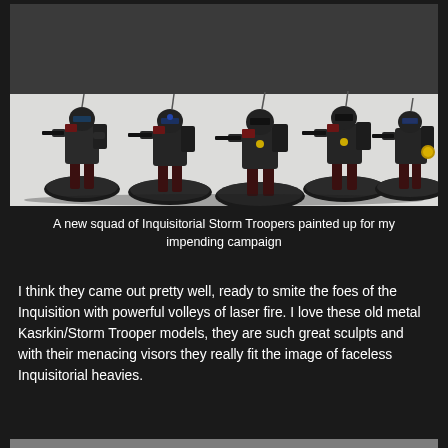[Figure (photo): Five painted Inquisitorial Storm Trooper miniatures (Kasrkin/Storm Trooper models) in dark grey and red armor, standing on textured black bases against a white background.]
A new squad of Inquisitorial Storm Troopers painted up for my impending campaign
I think they came out pretty well, ready to smite the foes of the Inquisition with powerful volleys of laser fire. I love these old metal Kasrkin/Storm Trooper models, they are such great sculpts and with their menacing visors they really fit the image of faceless Inquisitorial heavies.